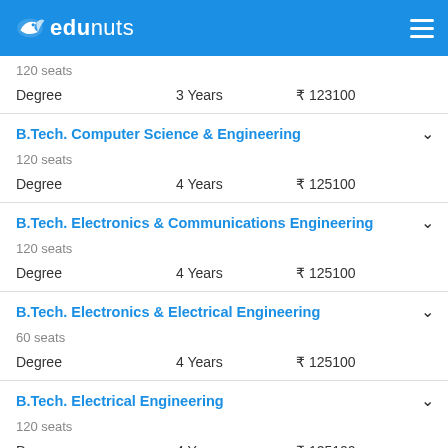edunuts
120 seats
Degree   3 Years   ₹ 123100
B.Tech. Computer Science & Engineering
120 seats
Degree   4 Years   ₹ 125100
B.Tech. Electronics & Communications Engineering
120 seats
Degree   4 Years   ₹ 125100
B.Tech. Electronics & Electrical Engineering
60 seats
Degree   4 Years   ₹ 125100
B.Tech. Electrical Engineering
120 seats
Degree   4 Years   ₹ 125100